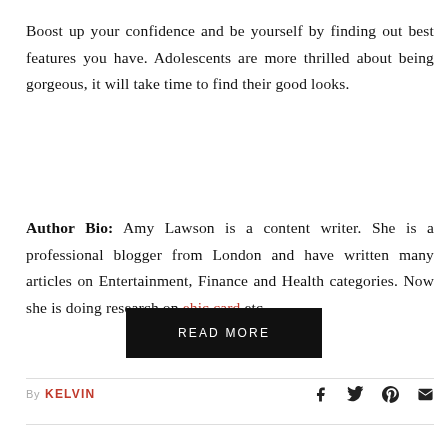Boost up your confidence and be yourself by finding out best features you have. Adolescents are more thrilled about being gorgeous, it will take time to find their good looks.
Author Bio: Amy Lawson is a content writer. She is a professional blogger from London and have written many articles on Entertainment, Finance and Health categories. Now she is doing research on ehic card etc.
[Figure (other): Black 'READ MORE' button centered on page]
By KELVIN